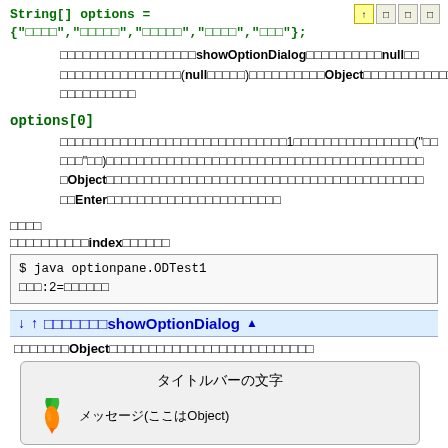String[] options = {"□□□□","□□□□□","□□□□□","□□□□","□□□"};
□□□□□□□□□□□□□□□□□□showOptionDialog□□□□□□□□□□null□□□□□□□□□□□□□□□□□(null□□□□□)□□□□□□□□□□Object□□□□□□□□□□□□□□□□□□□□□□
options[0]
□□□□□□□□□□□□□□□□□□□□□□□□□□□□□□1□□□□□□□□□□□□□□□□("□□□□□"□□)□□□□□□□□□□□□□□□□□□□□□□□□□□□□□□□□□□□□□□□□Object□□□□□□□□□□□□□□□□□□□□□□□□□□□□□□□□□□□□□□□□Enter□□□□□□□□□□□□□□□□□□□□
□□□□
□□□□□□□□□□□index□□□□□□
$ java optionpane.ODTest1
□□□:2=□□□□□□
↓ ↑ □□□□□□□showOptionDialog ▲
□□□□□□□Object□□□□□□□□□□□□□□□□□□□□□□□□□□
[Figure (screenshot): Dialog box showing タイトルバーの文字 (title bar text) and メッセージ(ここはObject) (message here is Object) with a carrot icon]